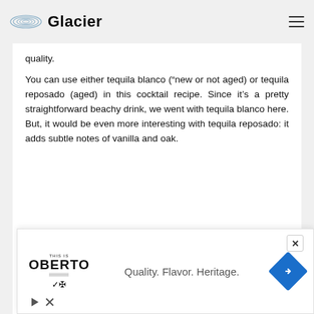Glacier
quality.
You can use either tequila blanco (“new or not aged) or tequila reposado (aged) in this cocktail recipe. Since it’s a pretty straightforward beachy drink, we went with tequila blanco here. But, it would be even more interesting with tequila reposado: it adds subtle notes of vanilla and oak.
[Figure (photo): Light blue image, possibly sky or water, partially visible at bottom of content area]
[Figure (other): Oberto advertisement banner: Oberto logo on left, tagline 'Quality. Flavor. Heritage.' in center, blue navigation diamond icon on right, with play and close buttons at bottom left. Close X button at top right.]